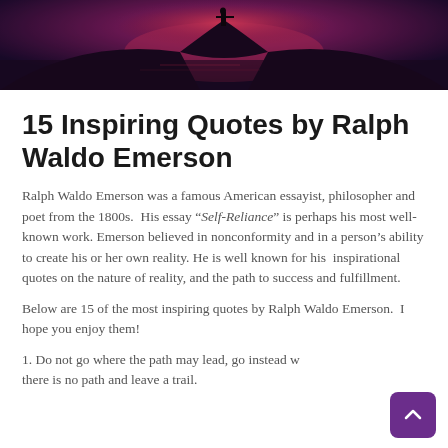[Figure (photo): Dark atmospheric image of a silhouetted figure standing on a hill or ridge with a dramatic red and purple sunset sky in the background]
15 Inspiring Quotes by Ralph Waldo Emerson
Ralph Waldo Emerson was a famous American essayist, philosopher and poet from the 1800s. His essay “Self-Reliance” is perhaps his most well-known work. Emerson believed in nonconformity and in a person’s ability to create his or her own reality. He is well known for his inspirational quotes on the nature of reality, and the path to success and fulfillment.
Below are 15 of the most inspiring quotes by Ralph Waldo Emerson. I hope you enjoy them!
1. Do not go where the path may lead, go instead where there is no path and leave a trail.